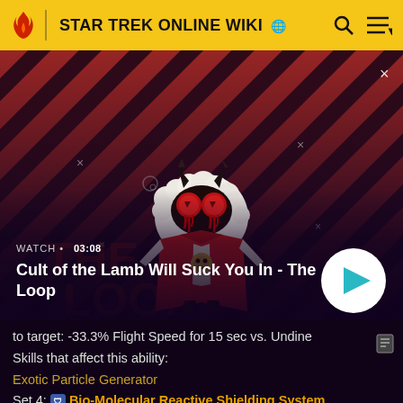STAR TREK ONLINE WIKI
[Figure (screenshot): Video thumbnail for 'Cult of the Lamb Will Suck You In - The Loop' showing animated lamb character with red eyes on diagonal striped red/dark background. Duration shown as 03:08 with WATCH label and play button.]
to target: -33.3% Flight Speed for 15 sec vs. Undine
Skills that affect this ability:
Exotic Particle Generator
Set 4: Bio-Molecular Reactive Shielding System
Targets Self